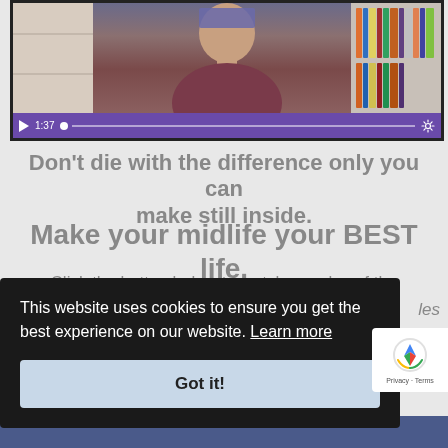[Figure (screenshot): Video player showing a man in a dark red shirt sitting in front of a bookshelf. The video controls bar at the bottom is purple, showing a play button, time stamp '1:37', a progress dot, progress bar, and settings gear icon.]
Don't die with the difference only you can make still inside.
Make your midlife your BEST life.
Click the button below to watch a replay of the
les
This website uses cookies to ensure you get the best experience on our website. Learn more
Got it!
[Figure (logo): Google reCAPTCHA badge with recycling-arrow logo icon and text 'Privacy · Terms']